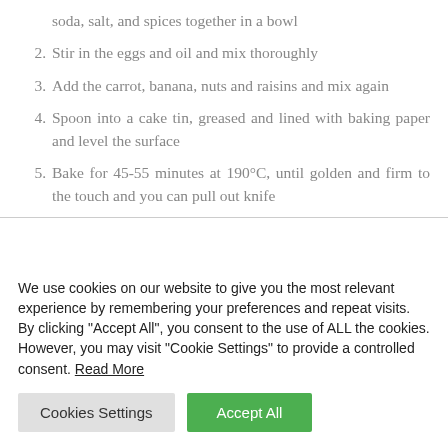soda, salt, and spices together in a bowl
2. Stir in the eggs and oil and mix thoroughly
3. Add the carrot, banana, nuts and raisins and mix again
4. Spoon into a cake tin, greased and lined with baking paper and level the surface
5. Bake for 45-55 minutes at 190°C, until golden and firm to the touch and you can pull out knife
We use cookies on our website to give you the most relevant experience by remembering your preferences and repeat visits. By clicking "Accept All", you consent to the use of ALL the cookies. However, you may visit "Cookie Settings" to provide a controlled consent. Read More